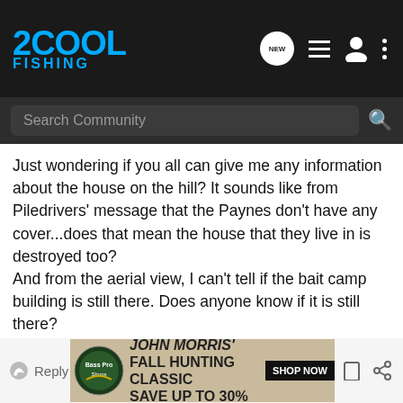2COOL FISHING
Search Community
Just wondering if you all can give me any information about the house on the hill? It sounds like from Piledrivers' message that the Paynes don't have any cover...does that mean the house that they live in is destroyed too?
And from the aerial view, I can't tell if the bait camp building is still there. Does anyone know if it is still there?
I am one of Henry & Ruth Blume's grandchildren, the original builders of the property now known as Payco Marina. Henry used to call it Blume Yacht Basin or Pleasure Island before he leased it to Herschel. Please give Herschel our regards if anyone does catch up to him.
Thanks, Kathy
[Figure (screenshot): Bass Pro Shops advertisement: FALL HUNTING CLASSIC SAVE UP TO 30% with SHOP NOW button]